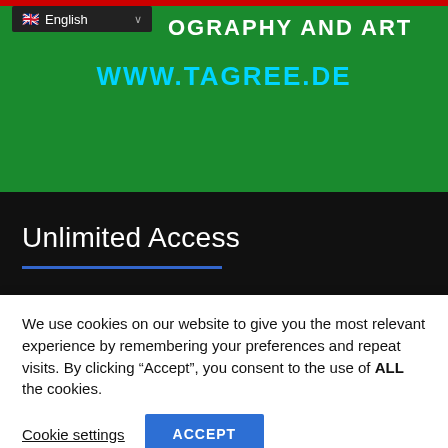[Figure (screenshot): Website header with green background, red top strip, English language selector, 'PHOTOGRAPHY AND ART' text, and 'WWW.TAGREE.DE' URL in cyan]
Unlimited Access
[Figure (screenshot): Green card with TAG logo (blue circle with white arrow and TAG text), red vertical divider line, red 'Register' text, and 'EXPLORE TAGREE' text below]
We use cookies on our website to give you the most relevant experience by remembering your preferences and repeat visits. By clicking “Accept”, you consent to the use of ALL the cookies.
Cookie settings
ACCEPT